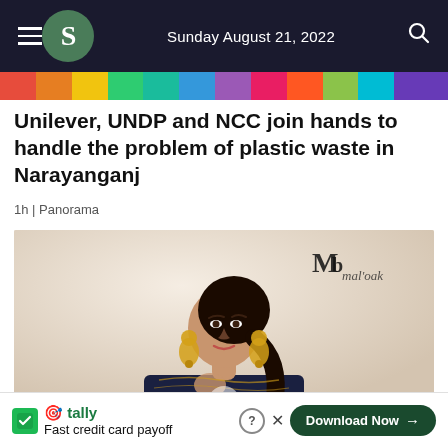Sunday August 21, 2022
Unilever, UNDP and NCC join hands to handle the problem of plastic waste in Narayanganj
1h | Panorama
[Figure (photo): A young South Asian woman wearing traditional jewelry (large gold chandbali earrings) and a dark navy embroidered outfit, posing against a light background. A brand watermark 'Mb malouk' is visible in the upper right of the image.]
🎯 tally Fast credit card payoff Download Now →